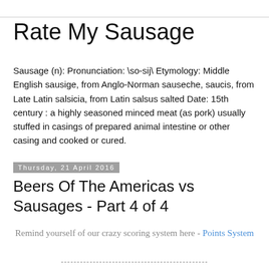Rate My Sausage
Sausage (n): Pronunciation: \so-sij\ Etymology: Middle English sausige, from Anglo-Norman sauseche, saucis, from Late Latin salsicia, from Latin salsus salted Date: 15th century : a highly seasoned minced meat (as pork) usually stuffed in casings of prepared animal intestine or other casing and cooked or cured.
Thursday, 21 April 2016
Beers Of The Americas vs Sausages - Part 4 of 4
Remind yourself of our crazy scoring system here - Points System
----------------------------------------------